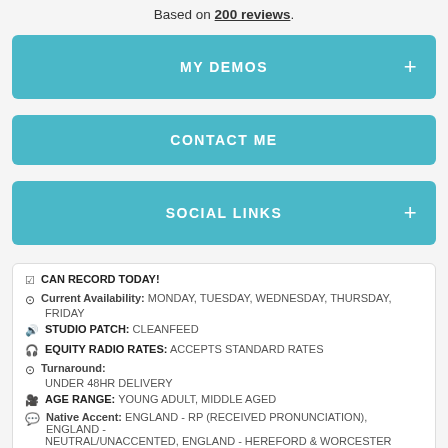Based on 200 reviews.
MY DEMOS
CONTACT ME
SOCIAL LINKS
CAN RECORD TODAY!
CURRENT AVAILABILITY: MONDAY, TUESDAY, WEDNESDAY, THURSDAY, FRIDAY
STUDIO PATCH: CLEANFEED
EQUITY RADIO RATES: ACCEPTS STANDARD RATES
TURNAROUND: UNDER 48HR DELIVERY
AGE RANGE: YOUNG ADULT, MIDDLE AGED
NATIVE ACCENT: ENGLAND - RP (RECEIVED PRONUNCIATION), ENGLAND - NEUTRAL/UNACCENTED, ENGLAND - HEREFORD & WORCESTER
GENDER: FEMALE